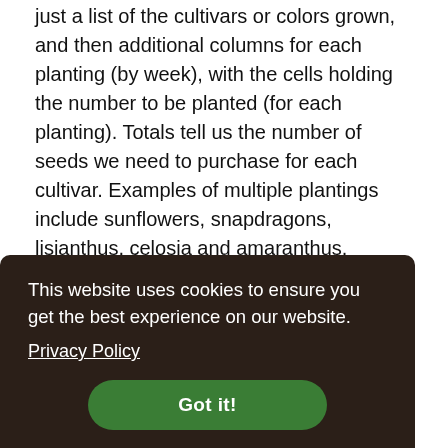just a list of the cultivars or colors grown, and then additional columns for each planting (by week), with the cells holding the number to be planted (for each planting). Totals tell us the number of seeds we need to purchase for each cultivar. Examples of multiple plantings include sunflowers, snapdragons, lisianthus, celosia and amaranthus.
Ordering
This takes us to one of the main tabs of our spreadsheet. It lists everything we're growing, annuals ... s are ... ear, ... ls and ... half of full bed, and we know the number of plants that is
This website uses cookies to ensure you get the best experience on our website. Privacy Policy Got it!